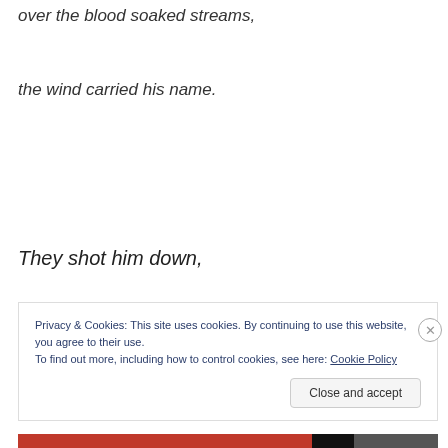over the blood soaked streams,
the wind carried his name.
They shot him down,
Privacy & Cookies: This site uses cookies. By continuing to use this website, you agree to their use.
To find out more, including how to control cookies, see here: Cookie Policy
Close and accept